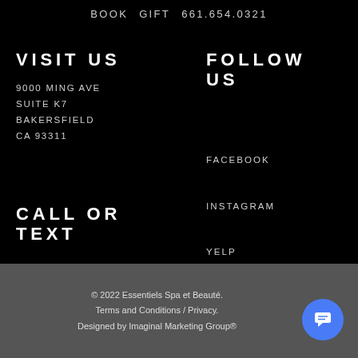BOOK   GIFT   661.654.0321
VISIT US
9000 MING AVE
SUITE K7
BAKERSFIELD
CA 93311
FOLLOW US
FACEBOOK
INSTAGRAM
YELP
CALL OR TEXT
661.654.0321
© 2022 Essentiels Spa et Beauté.
Terms and Conditions / Privacy.
Designed by Imaginal Marketing Group®